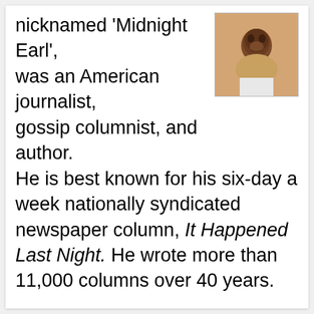nicknamed 'Midnight Earl', was an American journalist, gossip columnist, and author. He is best known for his six-day a week nationally syndicated newspaper column, It Happened Last Night. He wrote more than 11,000 columns over 40 years.
[Figure (photo): Headshot photo of a Black man smiling, wearing a white collared shirt, against a warm background]